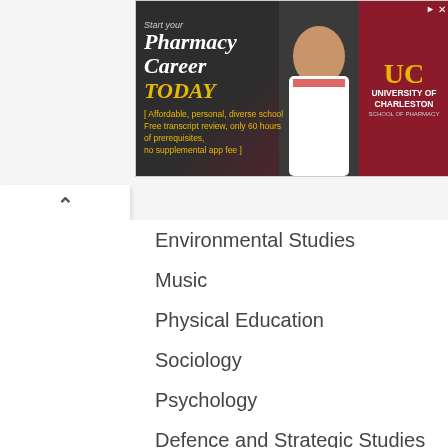[Figure (photo): University of Charleston School of Pharmacy advertisement banner showing a smiling man in a white coat. Text reads: Start your Pharmacy Career TODAY. Affordable, personal, diverse school. Free transcript review, only 60 hours of prerequisites, no supplemental app fee.]
Environmental Studies
Music
Physical Education
Sociology
Psychology
Defence and Strategic Studies
Political Science
Public Administration
Management
Forensic Science
History
Home Science
Social Work